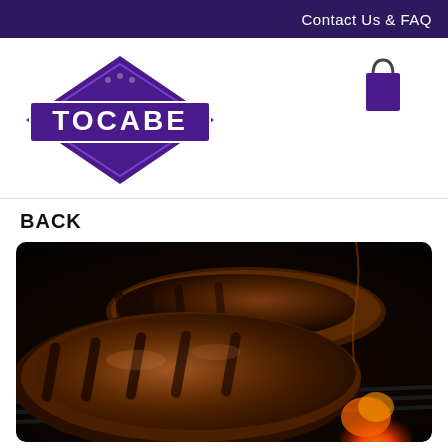Contact Us & FAQ
[Figure (logo): TOCABE diamond-shaped purple logo with ornate text]
[Figure (illustration): Purple shopping bag / cart icon]
BACK
[Figure (photo): Close-up photo of meat grilling on a flame grill with fire and smoke]